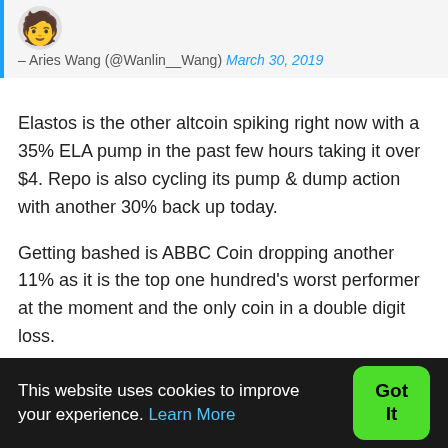[Figure (illustration): Emoji avatar of a person wearing a cap, yellow face with slight smile]
– Aries Wang (@Wanlin__Wang) March 30, 2019
Elastos is the other altcoin spiking right now with a 35% ELA pump in the past few hours taking it over $4. Repo is also cycling its pump & dump action with another 30% back up today.
Getting bashed is ABBC Coin dropping another 11% as it is the top one hundred's worst performer at the moment and the only coin in a double digit loss.
Total Market Capitalization
This website uses cookies to improve your experience. Learn More